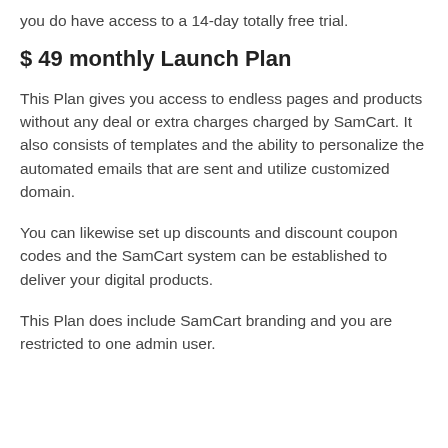you do have access to a 14-day totally free trial.
$ 49 monthly Launch Plan
This Plan gives you access to endless pages and products without any deal or extra charges charged by SamCart. It also consists of templates and the ability to personalize the automated emails that are sent and utilize customized domain.
You can likewise set up discounts and discount coupon codes and the SamCart system can be established to deliver your digital products.
This Plan does include SamCart branding and you are restricted to one admin user.